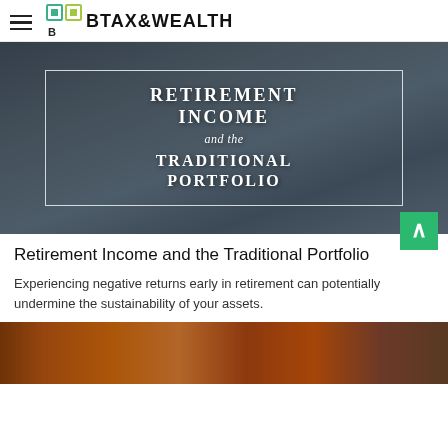B TAX&WEALTH
[Figure (photo): Hero image with person relaxing in office chair, overlaid with decorative border and text reading 'RETIREMENT INCOME and the TRADITIONAL PORTFOLIO']
Retirement Income and the Traditional Portfolio
Experiencing negative returns early in retirement can potentially undermine the sustainability of your assets.
[Figure (photo): Bottom partial image showing a tablet device on a wooden surface with orange/brown tones]